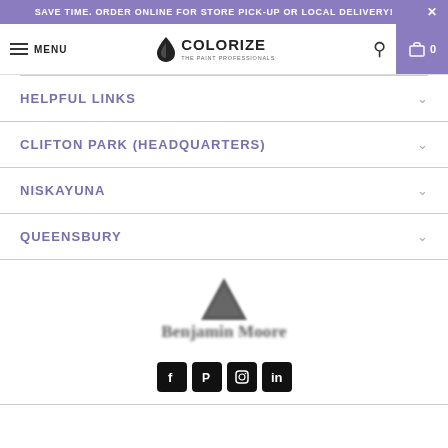SAVE TIME. ORDER ONLINE FOR STORE PICK-UP OR LOCAL DELIVERY!
[Figure (logo): Colorize - The Paint Professionals logo with navigation bar including menu, search, and cart icons]
HELPFUL LINKS
CLIFTON PARK (HEADQUARTERS)
NISKAYUNA
QUEENSBURY
[Figure (logo): Benjamin Moore logo - triangle shape above stylized text]
[Figure (logo): Social media icons: Facebook, Pinterest, Instagram, LinkedIn]